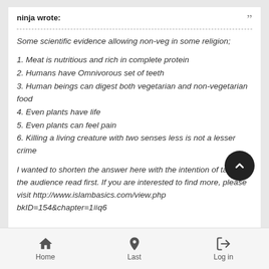ninja wrote:
Some scientific evidence allowing non-veg in some religion;
1. Meat is nutritious and rich in complete protein
2. Humans have Omnivorous set of teeth
3. Human beings can digest both vegetarian and non-vegetarian food
4. Even plants have life
5. Even plants can feel pain
6. Killing a living creature with two senses less is not a lesser crime
I wanted to shorten the answer here with the intention of taking the audience read first. If you are interested to find more, please visit http://www.islambasics.com/view.php bkID=154&chapter=1#q6
Home    Last    Log in